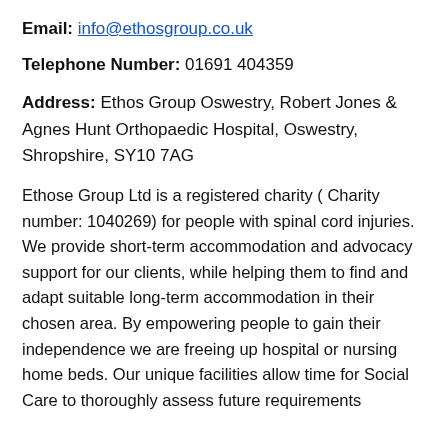Email: info@ethosgroup.co.uk
Telephone Number: 01691 404359
Address: Ethos Group Oswestry, Robert Jones & Agnes Hunt Orthopaedic Hospital, Oswestry, Shropshire, SY10 7AG
Ethose Group Ltd is a registered charity ( Charity number: 1040269) for people with spinal cord injuries. We provide short-term accommodation and advocacy support for our clients, while helping them to find and adapt suitable long-term accommodation in their chosen area. By empowering people to gain their independence we are freeing up hospital or nursing home beds. Our unique facilities allow time for Social Care to thoroughly assess future requirements